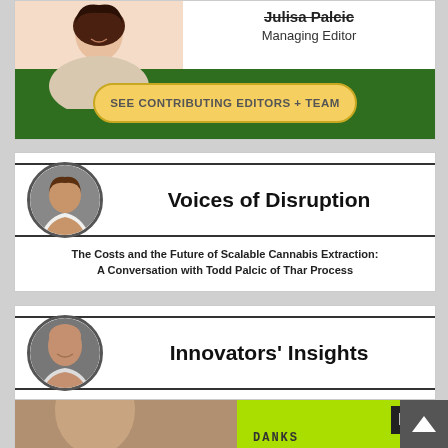[Figure (illustration): Banner showing a woman (Managing Editor) with a green background and a yellow button reading 'SEE CONTRIBUTING EDITORS + TEAM']
Voices of Disruption
The Costs and the Future of Scalable Cannabis Extraction: A Conversation with Todd Palcic of Thar Process
Innovators' Insights
Dangers of Delta 8 Vaporizing Products
By: John MacKay
[Figure (photo): Bottom partial strip with a photo on the left and a lime green section with an M badge and 'DANKS' text]